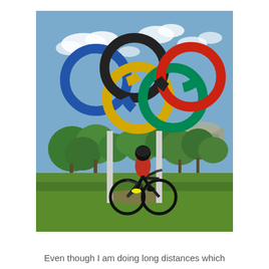[Figure (photo): A cyclist poses with their bicycle in front of the large Olympic rings sculpture. The rings are the five classic colors (blue, yellow/gold, black, green, red) mounted on white poles. Behind are green trees, a blue sky with white clouds, and a stadium building on the right. Green grass covers the foreground.]
Even though I am doing long distances which